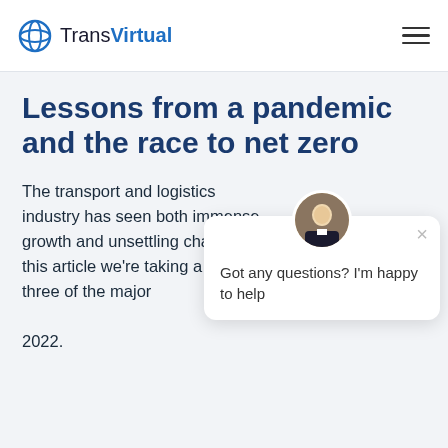TransVirtual
Lessons from a pandemic and the race to net zero
The transport and logistics industry has seen both immense growth and unsettling change. In this article we're taking a look at three of the major 2022.
[Figure (other): Chat popup with avatar photo of a man in a tuxedo. Text reads: Got any questions? I'm happy to help]
Maersk joins the race to net zero (but hits a surprising hurdle)